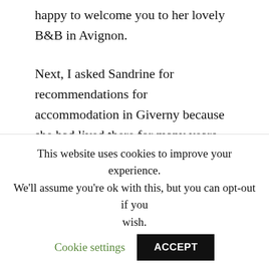happy to welcome you to her lovely B&B in Avignon.
Next, I asked Sandrine for recommendations for accommodation in Giverny because she had lived there for many years and would have the inside scoop on a place for me.  With her recommendation, I am staying with Marie & Gilbert, who rent a room in their home located in the heart of Giverny.
There is not much in the way of accommodation
This website uses cookies to improve your experience. We'll assume you're ok with this, but you can opt-out if you wish.
Cookie settings
ACCEPT